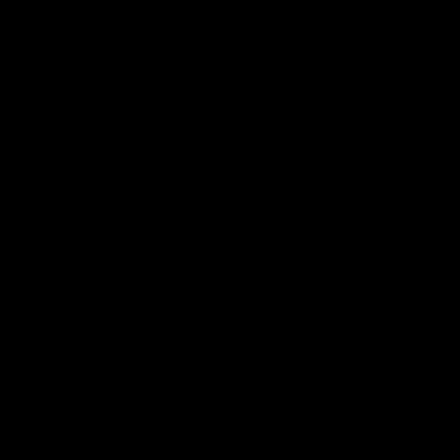The SharePoint User Group are hosting an event are:
John Timney (MVP & MOSS Technical Lead from BT) will best practice for architecting
Although we cannot guarantee Participation is welcomed and themselves in a mire and need opportunity to ask your questions virtualisation, publishing, data strategies, how best to handle healthy discussion to determine and what issue you might face customers.
Come along, sit yourself down
Venue:
BT Innovation Place
Delta Bank Road
Riverside Park
Innovation Place
Metro Centre, Gateshead
NE11 9DJ
Time 6.30 - 8.30 pm
http://local.live.com/?v=2&sp=Point.t4t652gvtvyw